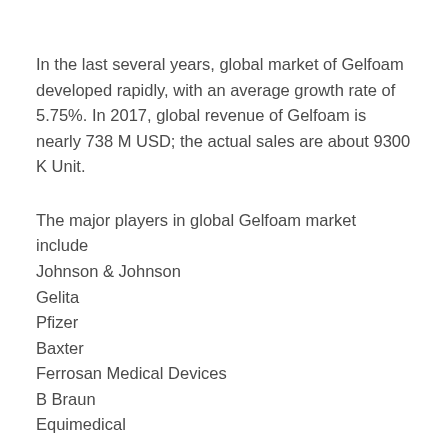In the last several years, global market of Gelfoam developed rapidly, with an average growth rate of 5.75%. In 2017, global revenue of Gelfoam is nearly 738 M USD; the actual sales are about 9300 K Unit.
The major players in global Gelfoam market include
Johnson & Johnson
Gelita
Pfizer
Baxter
Ferrosan Medical Devices
B Braun
Equimedical
Geographically, this report is segmented into